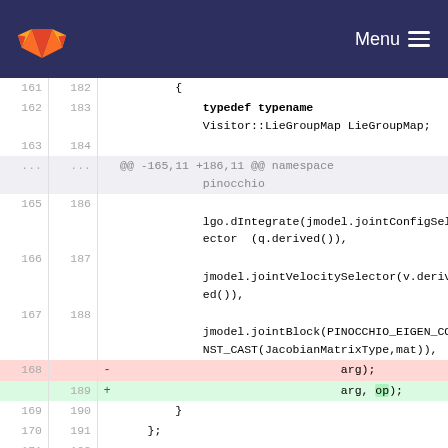Menu
[Figure (screenshot): GitLab code diff view showing lines 161-192 (old) and 182-192 (new) of a C++ source file. The diff shows a change on line 168/189 where 'arg);' is replaced with 'arg, op);'. Code includes typedef typename, Visitor::LieGroupMap, lgo.dIntegrate, jmodel.jointVelocitySelector, and jmodel.jointBlock calls.]